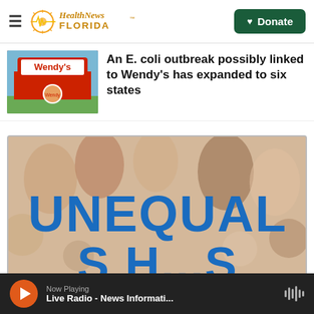Health News Florida — Donate
An E. coli outbreak possibly linked to Wendy's has expanded to six states
[Figure (photo): Wendy's restaurant sign with the iconic Wendy's logo and red branding]
[Figure (photo): UNEQUAL — graphic with silhouettes of diverse people and large blue text reading UNEQUAL]
Now Playing — Live Radio - News Informati...